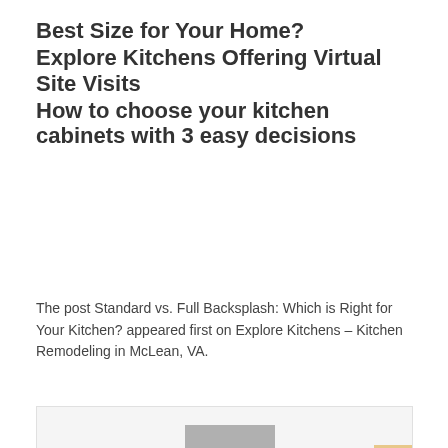Best Size for Your Home?
Explore Kitchens Offering Virtual Site Visits
How to choose your kitchen cabinets with 3 easy decisions
The post Standard vs. Full Backsplash: Which is Right for Your Kitchen? appeared first on Explore Kitchens – Kitchen Remodeling in McLean, VA.
[Figure (other): Card with avatar/profile image placeholder in grey]